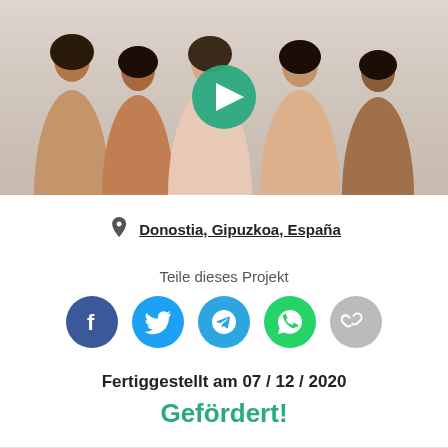[Figure (photo): Group of five women in underwear/lingerie posing together against a light background, with a green play button overlay in the center]
Donostia, Gipuzkoa, España
Teile dieses Projekt
[Figure (infographic): Row of five social sharing icons: Facebook (blue), Twitter (light blue), Telegram (blue), WhatsApp (green), Link/copy (gray)]
Fertiggestellt am 07 / 12 / 2020
Gefördert!